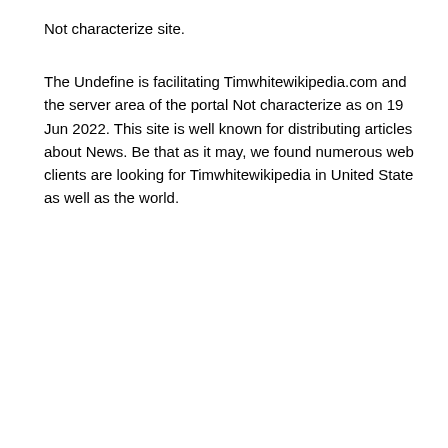Not characterize site.
The Undefine is facilitating Timwhitewikipedia.com and the server area of the portal Not characterize as on 19 Jun 2022. This site is well known for distributing articles about News. Be that as it may, we found numerous web clients are looking for Timwhitewikipedia in United State as well as the world.